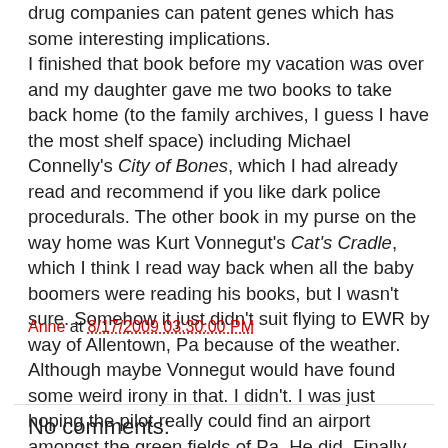drug companies can patent genes which has some interesting implications. I finished that book before my vacation was over and my daughter gave me two books to take back home (to the family archives, I guess I have the most shelf space) including Michael Connelly's City of Bones, which I had already read and recommend if you like dark police procedurals. The other book in my purse on the way home was Kurt Vonnegut's Cat's Cradle, which I think I read way back when all the baby boomers were reading his books, but I wasn't sure. Somehow it just didn't suit flying to EWR by way of Allentown, Pa because of the weather. Although maybe Vonnegut would have found some weird irony in that. I didn't. I was just hoping the pilot really could find an airport amongst the green fields of Pa. He did. Finally. We clapped.
Anne at 8/17/2009 03:30:00 PM
Share
No comments: